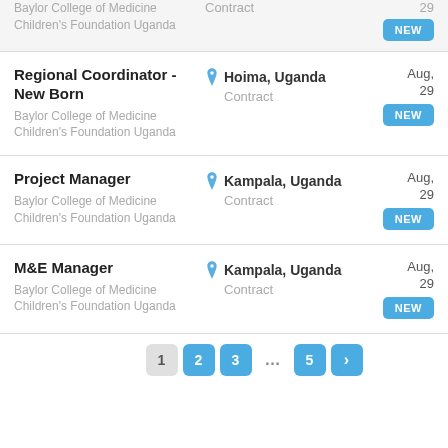Baylor College of Medicine Children's Foundation Uganda | Contract | 29 | NEW
Regional Coordinator - New Born | Baylor College of Medicine Children's Foundation Uganda | Hoima, Uganda | Contract | Aug, 29 | NEW
Project Manager | Baylor College of Medicine Children's Foundation Uganda | Kampala, Uganda | Contract | Aug, 29 | NEW
M&E Manager | Baylor College of Medicine Children's Foundation Uganda | Kampala, Uganda | Contract | Aug, 29 | NEW
1 2 3 … 5 >